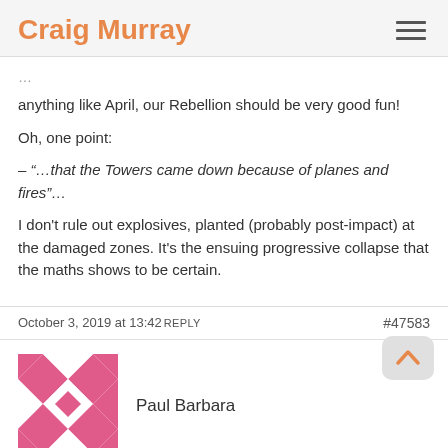Craig Murray
anything like April, our Rebellion should be very good fun!
Oh, one point:
– “…that the Towers came down because of planes and fires”…
I don’t rule out explosives, planted (probably post-impact) at the damaged zones. It's the ensuing progressive collapse that the maths shows to be certain.
October 3, 2019 at 13:42 REPLY                                         #47583
Paul Barbara
@ Clark October 2, 2019 at 10:24
‘…I don’t rule out explosives, planted (probably post-impact) at the damaged zones.’